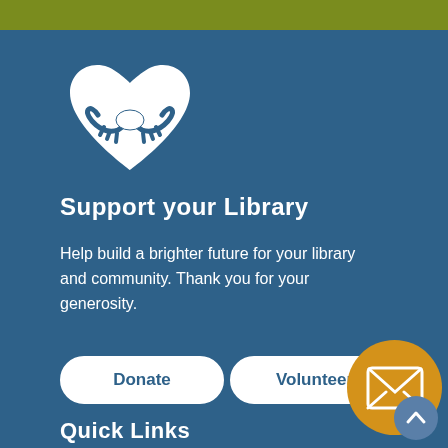[Figure (illustration): White heart-shaped handshake icon on blue background]
Support your Library
Help build a brighter future for your library and community. Thank you for your generosity.
[Figure (illustration): Donate button (white rounded rectangle)]
[Figure (illustration): Volunteer button (white rounded rectangle)]
[Figure (illustration): Orange circle with white envelope/mail icon]
Quick Links
About Us
Job Opportunities
News & Publications